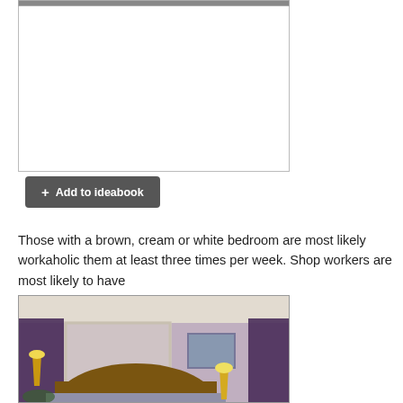[Figure (photo): Top portion of a photo (cropped, mostly white space visible) with a dark strip at top]
+ Add to ideabook
Those with a brown, cream or white bedroom are most likely workaholic them at least three times per week. Shop workers are most likely to have
[Figure (photo): Bedroom with purple/lavender walls, dark purple curtains, wooden carved headboard, wall art, and lamps]